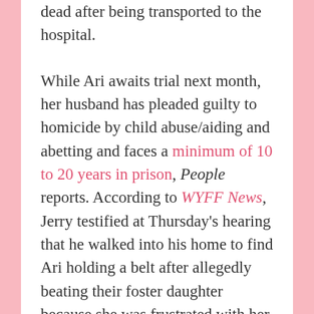death of the toddler, who was pronounced dead after being transported to the hospital.
While Ari awaits trial next month, her husband has pleaded guilty to homicide by child abuse/aiding and abetting and faces a minimum of 10 to 20 years in prison, People reports. According to WYFF News, Jerry testified at Thursday's hearing that he walked into his home to find Ari holding a belt after allegedly beating their foster daughter because she was frustrated with her.